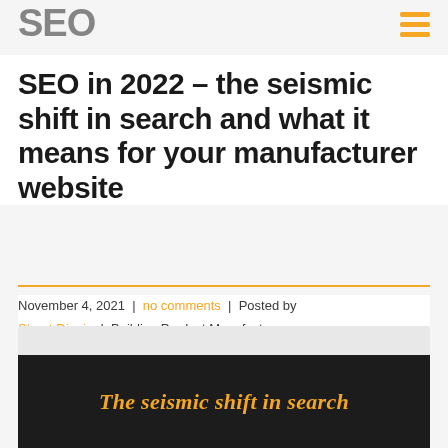SEO
SEO in 2022 – the seismic shift in search and what it means for your manufacturer website
November 4, 2021  |  no comments  |  Posted by Stuart Dinnie  |  Building Product Manufacturers, Construction Marketing, Lead Generation, SEO
[Figure (screenshot): Dark background image with italic bold orange/gold text reading 'The seismic shift in search']